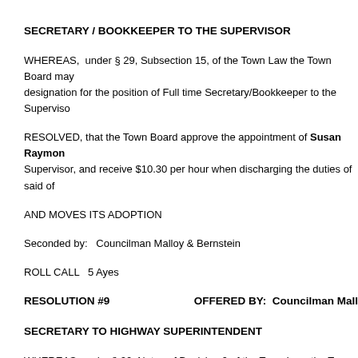SECRETARY / BOOKKEEPER TO THE SUPERVISOR
WHEREAS, under § 29, Subsection 15, of the Town Law the Town Board may designation for the position of Full time Secretary/Bookkeeper to the Supervisor
RESOLVED, that the Town Board approve the appointment of Susan Raymond Supervisor, and receive $10.30 per hour when discharging the duties of said of
AND MOVES ITS ADOPTION
Seconded by:   Councilman Malloy & Bernstein
ROLL CALL    5 Ayes
RESOLUTION #9                          OFFERED BY:   Councilman Mall
SECRETARY TO HIGHWAY SUPERINTENDENT
WHEREAS, under § 20, Notes of Decision 9 of the Town Law, the Town Board therefore be it